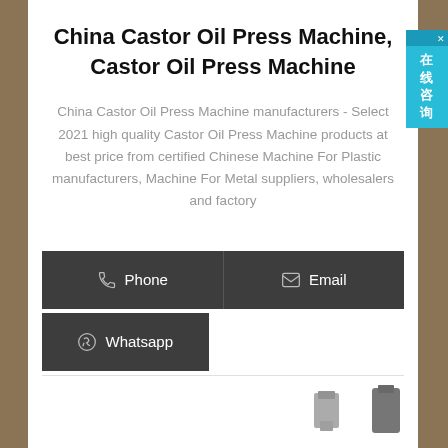China Castor Oil Press Machine, Castor Oil Press Machine
China Castor Oil Press Machine manufacturers - Select 2021 high quality Castor Oil Press Machine products at best price from certified Chinese Machine For Plastic manufacturers, Machine For Metal suppliers, wholesalers and factory
[Figure (infographic): Phone contact button (dark grey background, phone icon and text 'Phone') and Email contact button (dark grey background, envelope icon and text 'Email')]
[Figure (infographic): Whatsapp contact button (dark grey background, whatsapp icon and text 'Whatsapp')]
[Figure (photo): Partial product images at the bottom of the page]